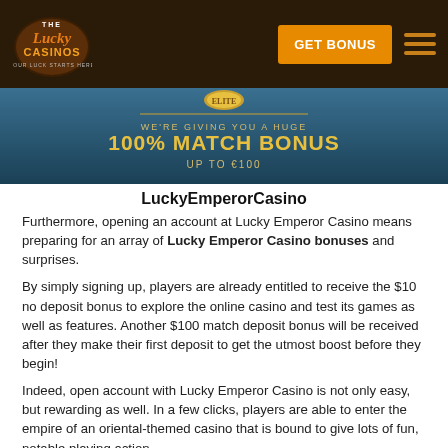The Lucky Casinos — GET BONUS
[Figure (illustration): Lucky Emperor Casino promotional banner: teal/blue gradient background with gold coin logo, text 'WE'RE GIVING YOU A HUGE 100% MATCH BONUS UP TO €100']
LuckyEmperorCasino
Furthermore, opening an account at Lucky Emperor Casino means preparing for an array of Lucky Emperor Casino bonuses and surprises.
By simply signing up, players are already entitled to receive the $10 no deposit bonus to explore the online casino and test its games as well as features. Another $100 match deposit bonus will be received after they make their first deposit to get the utmost boost before they begin!
Indeed, open account with Lucky Emperor Casino is not only easy, but rewarding as well. In a few clicks, players are able to enter the empire of an oriental-themed casino that is bound to give lots of fun, notable playing action,